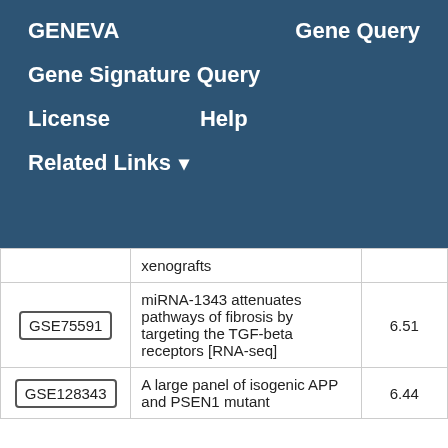GENEVA   Gene Query
Gene Signature Query
License   Help
Related Links ▾
|  | Description | Score |
| --- | --- | --- |
|  | xenografts |  |
| GSE75591 | miRNA-1343 attenuates pathways of fibrosis by targeting the TGF-beta receptors [RNA-seq] | 6.51 |
| GSE128343 | A large panel of isogenic APP and PSEN1 mutant | 6.44 |